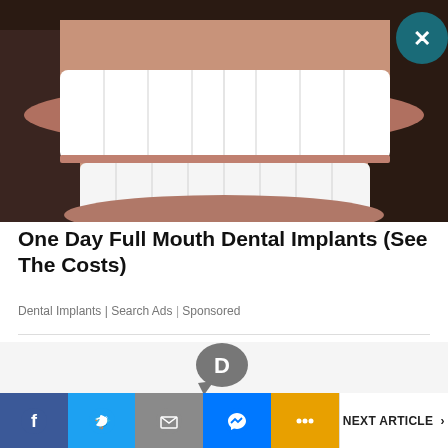[Figure (photo): Close-up photo of a person smiling showing full white dental implants/veneers, with stubble visible around the mouth. A teal/dark close button (X) is in the top right corner.]
One Day Full Mouth Dental Implants (See The Costs)
Dental Implants | Search Ads | Sponsored
[Figure (logo): Disqus logo - grey speech bubble with letter D inside]
[Figure (illustration): Partial cartoon/avatar illustration visible at bottom]
Facebook | Twitter | Email | Messenger | More ... | NEXT ARTICLE >